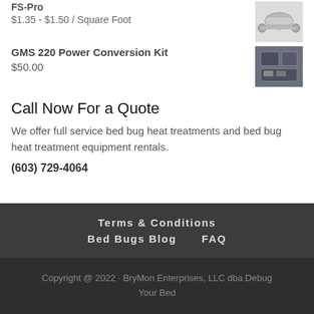FS-Pro
$1.35 - $1.50 / Square Foot
GMS 220 Power Conversion Kit
$50.00
Call Now For a Quote
We offer full service bed bug heat treatments and bed bug heat treatment equipment rentals.
(603) 729-4064
Terms & Conditions    Bed Bugs Blog    FAQ
Copyright @ 2022 · BryMon Enterprises, LLC dba Debug Your Bed